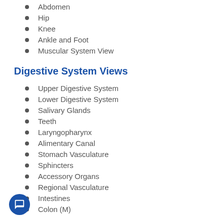Abdomen
Hip
Knee
Ankle and Foot
Muscular System View
Digestive System Views
Upper Digestive System
Lower Digestive System
Salivary Glands
Teeth
Laryngopharynx
Alimentary Canal
Stomach Vasculature
Sphincters
Accessory Organs
Regional Vasculature
Intestines
Colon (M)